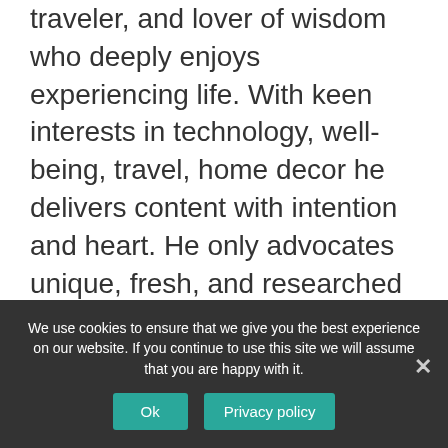traveler, and lover of wisdom who deeply enjoys experiencing life. With keen interests in technology, well-being, travel, home decor he delivers content with intention and heart. He only advocates unique, fresh, and researched content.
Latest Posts
Information On Flat Roofing That You Should Know
A Brief Introduction To Types Of Driveways
We use cookies to ensure that we give you the best experience on our website. If you continue to use this site we will assume that you are happy with it.